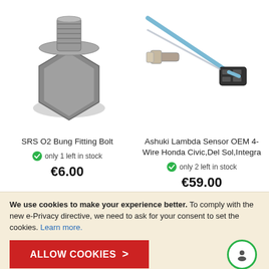[Figure (photo): Photo of SRS O2 Bung Fitting Bolt - a hexagonal metal bolt/plug with threaded end]
[Figure (photo): Photo of Ashuki Lambda Sensor OEM 4-Wire Honda Civic, Del Sol, Integra - a sensor with blue wire and black connector]
SRS O2 Bung Fitting Bolt
Ashuki Lambda Sensor OEM 4-Wire Honda Civic,Del Sol,Integra
only 1 left in stock
only 2 left in stock
€6.00
€59.00
We use cookies to make your experience better. To comply with the new e-Privacy directive, we need to ask for your consent to set the cookies. Learn more.
ALLOW COOKIES >